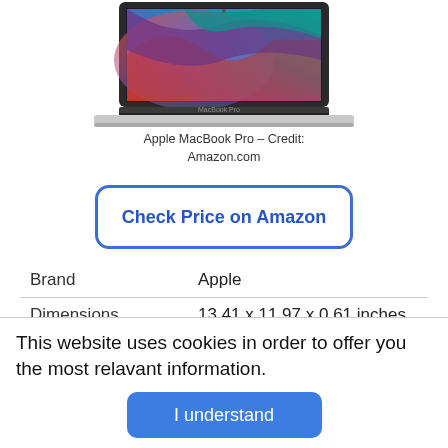[Figure (photo): Apple MacBook Pro laptop viewed from front-top angle showing colorful macOS Big Sur wallpaper on screen]
Apple MacBook Pro – Credit: Amazon.com
Check Price on Amazon
| Brand | Apple |
| Dimensions | 13.41 x 11.97 x 0.61 inches |
This website uses cookies in order to offer you the most relavant information.
I understand